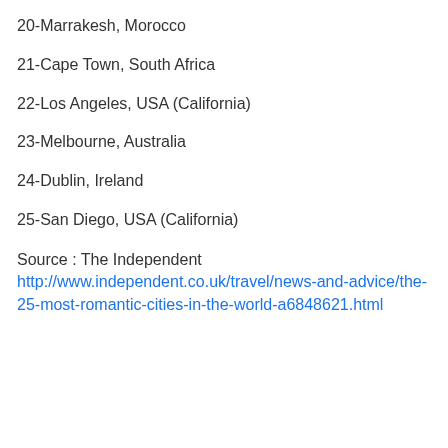20-Marrakesh, Morocco
21-Cape Town, South Africa
22-Los Angeles, USA (California)
23-Melbourne, Australia
24-Dublin, Ireland
25-San Diego, USA (California)
Source : The Independent http://www.independent.co.uk/travel/news-and-advice/the-25-most-romantic-cities-in-the-world-a6848621.html